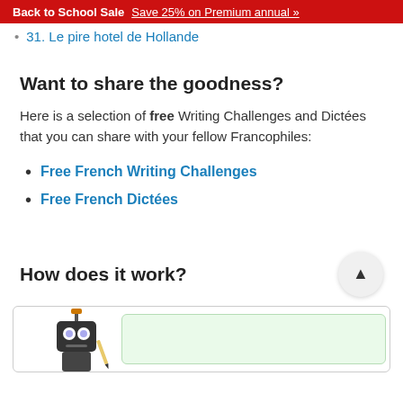Back to School Sale  Save 25% on Premium annual »
31. Le pire hotel de Hollande
Want to share the goodness?
Here is a selection of free Writing Challenges and Dictées that you can share with your fellow Francophiles:
Free French Writing Challenges
Free French Dictées
How does it work?
[Figure (illustration): Robot character illustration at the bottom of the page, partially visible, with a speech bubble area to the right on a light green background.]